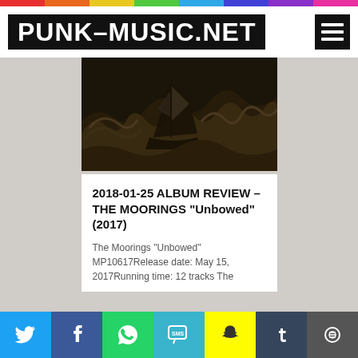PUNK-MUSIC.NET
[Figure (illustration): Dark illustrated album artwork showing a sailing ship being tossed in stormy seas with large waves, rendered in dark brown/sepia tones]
2018-01-25 ALBUM REVIEW – THE MOORINGS "Unbowed" (2017)
The Moorings "Unbowed" MP10617Release date: May 15, 2017Running time: 12 tracks The
[Figure (infographic): Social sharing bar with icons for Twitter, Facebook, WhatsApp, SMS, Snapchat, Tumblr, and another social network]